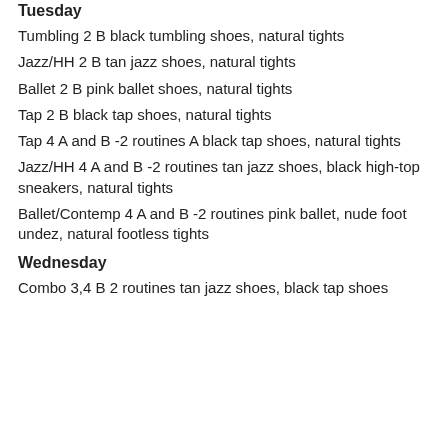Tuesday
Tumbling 2 B black tumbling shoes, natural tights
Jazz/HH 2 B tan jazz shoes, natural tights
Ballet 2 B pink ballet shoes, natural tights
Tap 2 B black tap shoes, natural tights
Tap 4 A and B -2 routines A black tap shoes, natural tights
Jazz/HH 4 A and B -2 routines tan jazz shoes, black high-top sneakers, natural tights
Ballet/Contemp 4 A and B -2 routines pink ballet, nude foot undez, natural footless tights
Wednesday
Combo 3,4 B 2 routines tan jazz shoes, black tap shoes